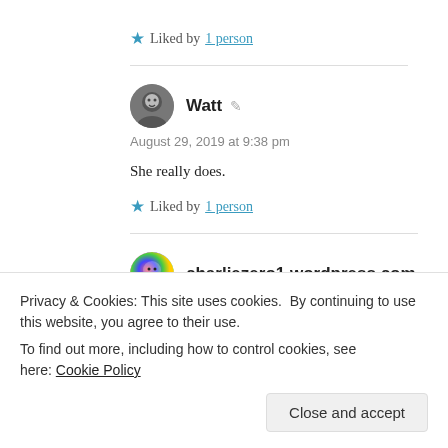★ Liked by 1 person
Watt
August 29, 2019 at 9:38 pm
She really does.
★ Liked by 1 person
charliezero1.wordpress.com
Privacy & Cookies: This site uses cookies. By continuing to use this website, you agree to their use.
To find out more, including how to control cookies, see here: Cookie Policy
Close and accept